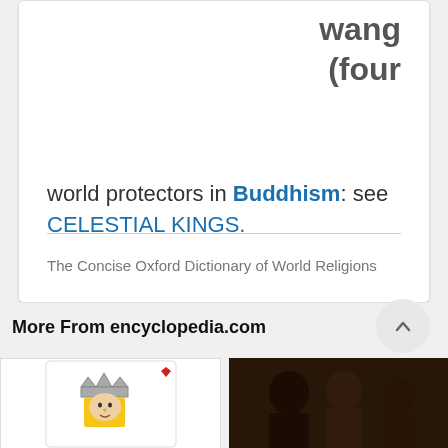wang (four
world protectors in Buddhism): see CELESTIAL KINGS.
The Concise Oxford Dictionary of World Religions
More From encyclopedia.com
[Figure (illustration): Playing card king illustration with crown and yellow hair]
[Figure (photo): Photo of people, appears to be musicians or performers]